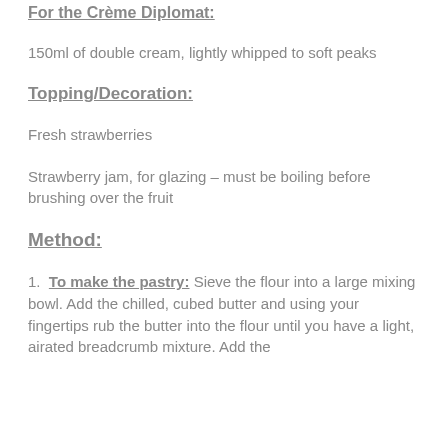For the Crème Diplomat:
150ml of double cream, lightly whipped to soft peaks
Topping/Decoration:
Fresh strawberries
Strawberry jam, for glazing – must be boiling before brushing over the fruit
Method:
1.  To make the pastry: Sieve the flour into a large mixing bowl. Add the chilled, cubed butter and using your fingertips rub the butter into the flour until you have a light, airated breadcrumb mixture. Add the